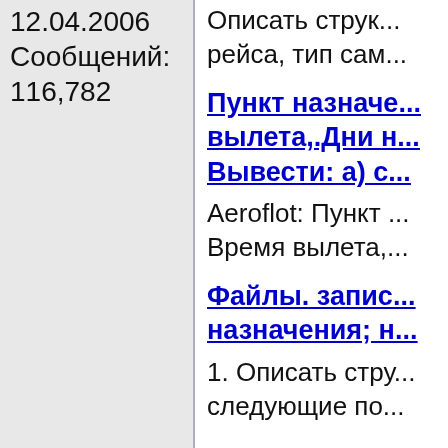12.04.2006
Сообщений: 116,782
Описать стру... рейса, тип сам...
Пункт назначе... вылета, Дни н... Вывести: а) с...
Aeroflot: Пункт ... Время вылета,...
Файлы. запис... назначения; н...
1. Описать стру... следующие по...